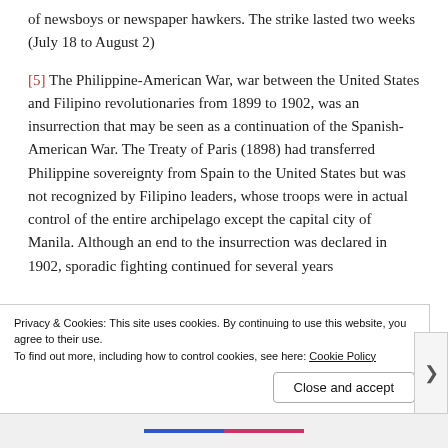of newsboys or newspaper hawkers. The strike lasted two weeks (July 18 to August 2)
[5] The Philippine-American War, war between the United States and Filipino revolutionaries from 1899 to 1902, was an insurrection that may be seen as a continuation of the Spanish-American War. The Treaty of Paris (1898) had transferred Philippine sovereignty from Spain to the United States but was not recognized by Filipino leaders, whose troops were in actual control of the entire archipelago except the capital city of Manila. Although an end to the insurrection was declared in 1902, sporadic fighting continued for several years
Privacy & Cookies: This site uses cookies. By continuing to use this website, you agree to their use.
To find out more, including how to control cookies, see here: Cookie Policy
Close and accept